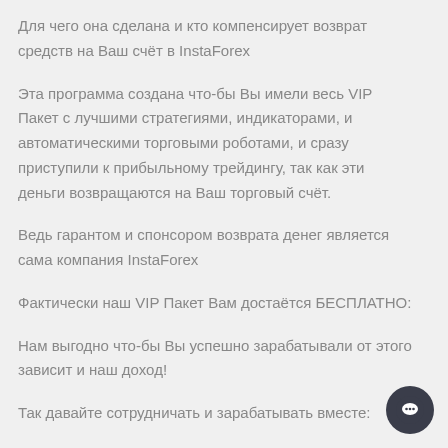Для чего она сделана и кто компенсирует возврат средств на Ваш счёт в InstaForex
Эта программа создана что-бы Вы имели весь VIP Пакет с лучшими стратегиями, индикаторами, и автоматическими торговыми роботами, и сразу приступили к прибыльному трейдингу, так как эти деньги возвращаются на Ваш торговый счёт.
Ведь гарантом и спонсором возврата денег является сама компания InstaForex
Фактически наш VIP Пакет Вам достаётся БЕСПЛАТНО:
Нам выгодно что-бы Вы успешно зарабатывали от этого зависит и наш доход!
Так давайте сотрудничать и зарабатывать вместе: